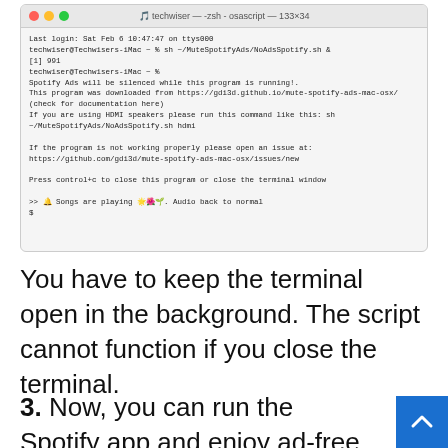[Figure (screenshot): macOS Terminal window showing techwiser -zsh -osascript -133x34. Output shows login info, running MuteSpotifyAds/NoAdsSpotify.sh script, script messages about silencing Spotify ads, download source, HDMI instructions, issue tracker URL, and confirmation that songs are playing with audio back to normal.]
You have to keep the terminal open in the background. The script cannot function if you close the terminal.
3. Now, you can run the Spotify app and enjoy ad-free music. Whenever an ad